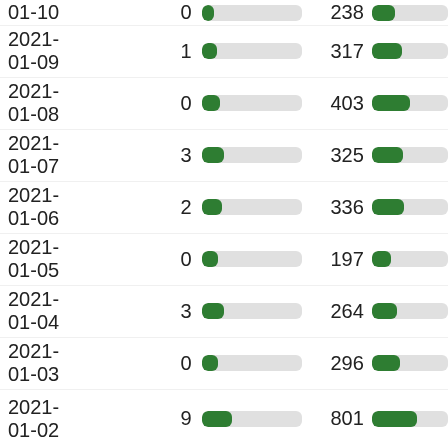| Date | Count1 | Bar1 | Count2 | Bar2 |
| --- | --- | --- | --- | --- |
| 2021-01-10 (partial) | 0 |  | 238 |  |
| 2021-01-09 | 1 |  | 317 |  |
| 2021-01-08 | 0 |  | 403 |  |
| 2021-01-07 | 3 |  | 325 |  |
| 2021-01-06 | 2 |  | 336 |  |
| 2021-01-05 | 0 |  | 197 |  |
| 2021-01-04 | 3 |  | 264 |  |
| 2021-01-03 | 0 |  | 296 |  |
| 2021-01-02 | 9 |  | 801 |  |